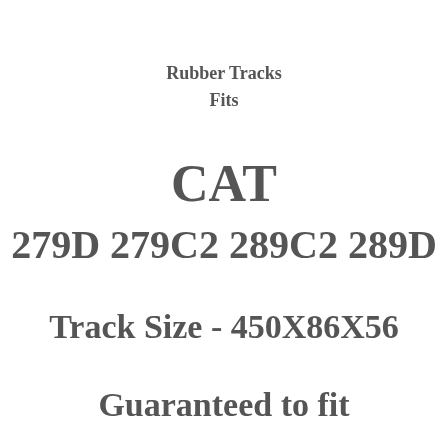Rubber Tracks
Fits
CAT
279D 279C2 289C2 289D
Track Size - 450X86X56
Guaranteed to fit